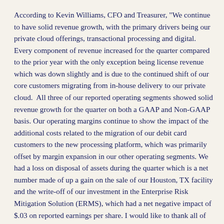According to Kevin Williams, CFO and Treasurer, "We continue to have solid revenue growth, with the primary drivers being our private cloud offerings, transactional processing and digital. Every component of revenue increased for the quarter compared to the prior year with the only exception being license revenue which was down slightly and is due to the continued shift of our core customers migrating from in-house delivery to our private cloud.  All three of our reported operating segments showed solid revenue growth for the quarter on both a GAAP and Non-GAAP basis. Our operating margins continue to show the impact of the additional costs related to the migration of our debit card customers to the new processing platform, which was primarily offset by margin expansion in our other operating segments. We had a loss on disposal of assets during the quarter which is a net number made of up a gain on the sale of our Houston, TX facility and the write-off of our investment in the Enterprise Risk Mitigation Solution (ERMS), which had a net negative impact of $.03 on reported earnings per share. I would like to thank all of our associates